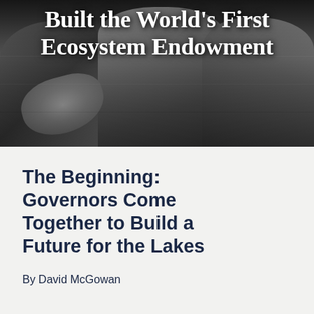[Figure (photo): Black and white photograph of several men in suits shaking hands, likely governors or officials, upper portion overlaid with large white bold title text]
Built the World's First Ecosystem Endowment
The Beginning: Governors Come Together to Build a Future for the Lakes
By David McGowan